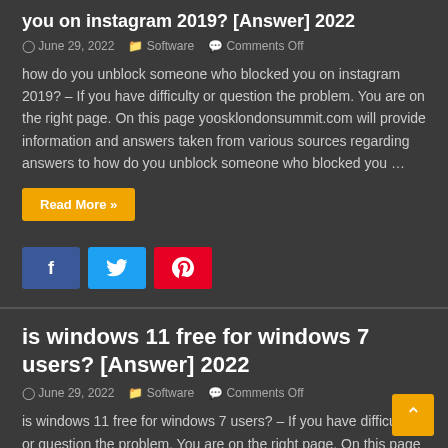you on instagram 2019? [Answer] 2022
June 29, 2022  Software  Comments Off
how do you unblock someone who blocked you on instagram 2019? – If you have difficulty or question the problem. You are on the right page. On this page yoosklondonsummit.com will provide information and answers taken from various sources regarding answers to how do you unblock someone who blocked you …
Read More »
is windows 11 free for windows 7 users? [Answer] 2022
June 29, 2022  Software  Comments Off
is windows 11 free for windows 7 users? – If you have difficulty or question the problem. You are on the right page. On this page yoosklondonsummit.com will provide information and answers taken from various sources regarding answers to is windows 11 free for windows 7 users? · Will Windows…